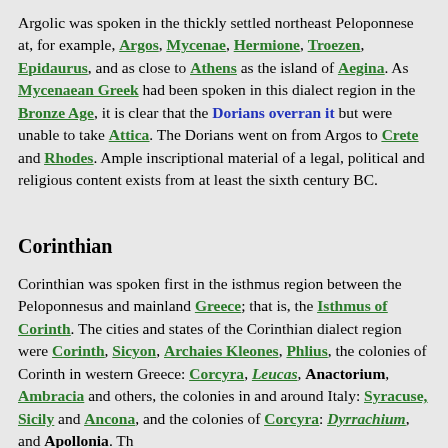Argolic was spoken in the thickly settled northeast Peloponnese at, for example, Argos, Mycenae, Hermione, Troezen, Epidaurus, and as close to Athens as the island of Aegina. As Mycenaean Greek had been spoken in this dialect region in the Bronze Age, it is clear that the Dorians overran it but were unable to take Attica. The Dorians went on from Argos to Crete and Rhodes. Ample inscriptional material of a legal, political and religious content exists from at least the sixth century BC.
Corinthian
Corinthian was spoken first in the isthmus region between the Peloponnesus and mainland Greece; that is, the Isthmus of Corinth. The cities and states of the Corinthian dialect region were Corinth, Sicyon, Archaies Kleones, Phlius, the colonies of Corinth in western Greece: Corcyra, Leucas, Anactorium, Ambracia and others, the colonies in and around Italy: Syracuse, Sicily and Ancona, and the colonies of Corcyra: Dyrrachium, and Apollonia. Th